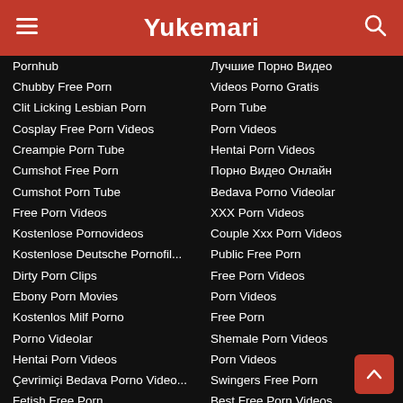Yukemari
Pornhub
Chubby Free Porn
Clit Licking Lesbian Porn
Cosplay Free Porn Videos
Creampie Porn Tube
Cumshot Free Porn
Cumshot Porn Tube
Free Porn Videos
Kostenlose Pornovideos
Kostenlose Deutsche Pornofil...
Dirty Porn Clips
Ebony Porn Movies
Kostenlos Milf Porno
Porno Videolar
Hentai Porn Videos
Çevrimiçi Bedava Porno Video...
Fetish Free Porn
Film X Porno
🔲 Footjob Porn Tube
Free Mobile Tranny Porn Videos
Лучшие Порно Видео
Videos Porno Gratis
Porn Tube
Porn Videos
Hentai Porn Videos
Порно Видео Онлайн
Bedava Porno Videolar
XXX Porn Videos
Couple Xxx Porn Videos
Public Free Porn
Free Porn Videos
Porn Videos
Free Porn
Shemale Porn Videos
Porn Videos
Swingers Free Porn
Best Free Porn Videos
Xxx Porn Videos
Xvideos
XXX Porn Videos